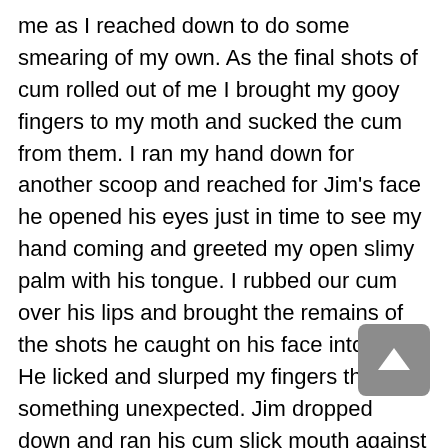me as I reached down to do some smearing of my own. As the final shots of cum rolled out of me I brought my gooy fingers to my moth and sucked the cum from them. I ran my hand down for another scoop and reached for Jim's face he opened his eyes just in time to see my hand coming and greeted my open slimy palm with his tongue. I rubbed our cum over his lips and brought the remains of the shots he caught on his face into play. He licked and slurped my fingers then did something unexpected. Jim dropped down and ran his cum slick mouth against my lips.
I was taken off guard because neither of us was really into kissing men but, the moment took control of him and then me. Opening my mouth I began licking the cum from his lips.
Jim grunted and opened his mouth too. We swirled our